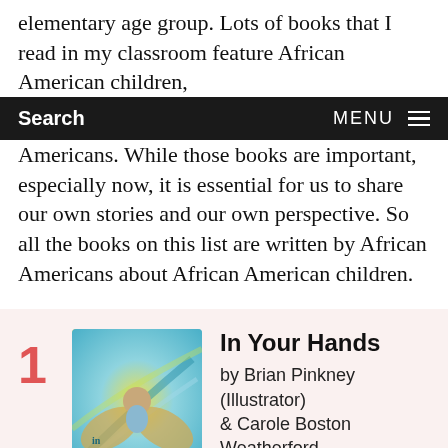elementary age group. Lots of books that I read in my classroom feature African American children,
Search  MENU
Americans. While those books are important, especially now, it is essential for us to share our own stories and our own perspective. So all the books on this list are written by African Americans about African American children.
1. In Your Hands by Brian Pinkney (Illustrator) & Carole Boston Weatherford
[Figure (illustration): Book cover of 'In Your Hands' featuring swirling blue, yellow, and teal colors with a figure of a child cradled in hands]
Let's begin with In Your Hands by Carole